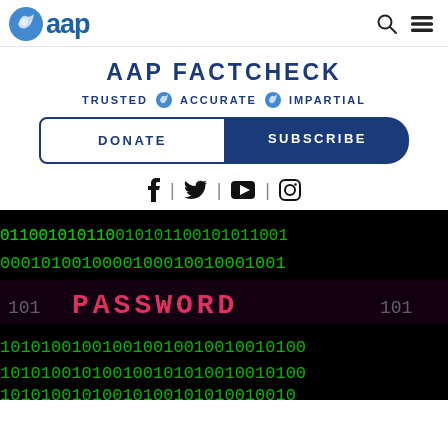aap
AAP FACTCHECK
TRUSTED  ACCURATE  IMPARTIAL
DONATE  SUBSCRIBE
[Figure (screenshot): Binary code image with PASSWORD text in red/pink on a black background with green binary digits]
f | Twitter | YouTube | Instagram social icons